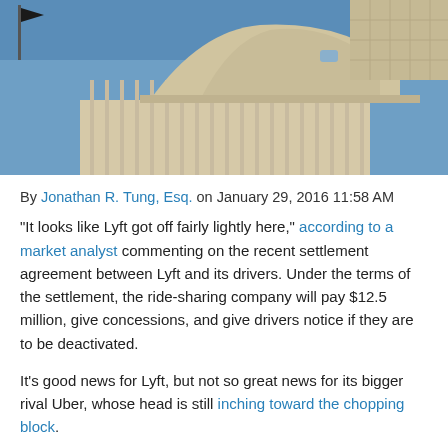[Figure (photo): Photo of the US Capitol building dome against a blue sky, with a flag visible in the upper left corner]
By Jonathan R. Tung, Esq. on January 29, 2016 11:58 AM
"It looks like Lyft got off fairly lightly here," according to a market analyst commenting on the recent settlement agreement between Lyft and its drivers. Under the terms of the settlement, the ride-sharing company will pay $12.5 million, give concessions, and give drivers notice if they are to be deactivated.
It's good news for Lyft, but not so great news for its bigger rival Uber, whose head is still inching toward the chopping block.
Liss Riordan: Terror of Sharing Economy Companies